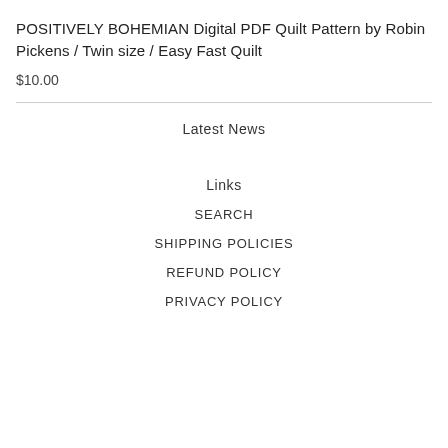POSITIVELY BOHEMIAN Digital PDF Quilt Pattern by Robin Pickens / Twin size / Easy Fast Quilt
$10.00
Latest News
Links
SEARCH
SHIPPING POLICIES
REFUND POLICY
PRIVACY POLICY